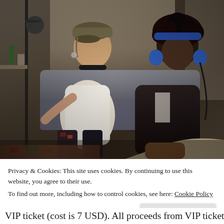[Figure (photo): Two people sitting in what appears to be a recording studio or podcast setting. The person on the left wears a cap, headphones around neck, white sleeveless top, and patterned pants. The person on the right wears blue headphones and a dark jacket. Both are seated on a couch/sofa area.]
Privacy & Cookies: This site uses cookies. By continuing to use this website, you agree to their use.
To find out more, including how to control cookies, see here: Cookie Policy
Close and accept
VIP ticket (cost is 7 USD). All proceeds from VIP ticket